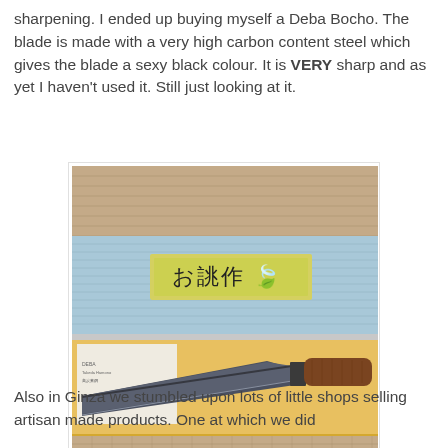sharpening. I ended up buying myself a Deba Bocho. The blade is made with a very high carbon content steel which gives the blade a sexy black colour. It is VERY sharp and as yet I haven't used it. Still just looking at it.
[Figure (photo): A Deba Bocho Japanese knife in its packaging box, placed on a woven mat background. The knife has a dark carbon steel blade and a wooden handle. A yellow label with Japanese characters is visible above the box.]
Deba Bocho from Takeda Hamono
Also in Ginza we stumbled upon lots of little shops selling artisan made products. One at which we did